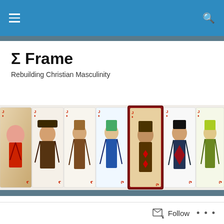Σ Frame – navigation bar with menu and search
Σ Frame
Rebuilding Christian Masculinity
[Figure (illustration): A horizontal banner showing seven playing card Jacks of Diamonds, each illustrated in a different artistic style, arranged side by side against a light background.]
POSTED IN GLORY
On Clarifying a Christian Culture of Attraction
Follow